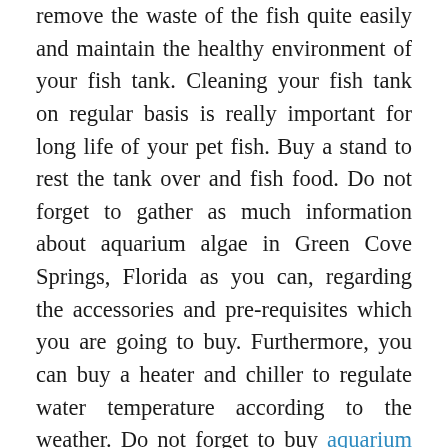remove the waste of the fish quite easily and maintain the healthy environment of your fish tank. Cleaning your fish tank on regular basis is really important for long life of your pet fish. Buy a stand to rest the tank over and fish food. Do not forget to gather as much information about aquarium algae in Green Cove Springs, Florida as you can, regarding the accessories and pre-requisites which you are going to buy. Furthermore, you can buy a heater and chiller to regulate water temperature according to the weather. Do not forget to buy aquarium salt in Green Cove Springs, Florida for your fish's stress reduction and healing from scratches and tearing of fins. Additional accessories may include an aquarium thermometer, towel,